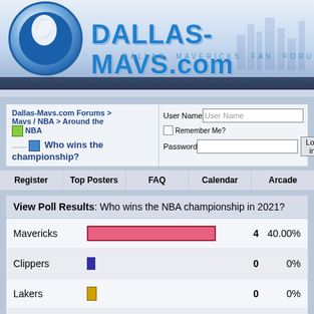[Figure (screenshot): Dallas-Mavs.com website header with logo and site title]
DALLAS-MAVS.com DALLAS MAVERICKS FAN FORUM
Dallas-Mavs.com Forums > Mavs / NBA > Around the NBA > Who wins the championship?
User Name | Password | Remember Me? | Log in
Register | Top Posters | FAQ | Calendar | Arcade
View Poll Results: Who wins the NBA championship in 2021?
| Team | Bar | Votes | Percentage |
| --- | --- | --- | --- |
| Mavericks |  | 4 | 40.00% |
| Clippers |  | 0 | 0% |
| Lakers |  | 0 | 0% |
| Suns |  | 1 | 10.00% |
| Nets |  | 1 | 10.00% |
| Bucks |  | 2 | 20.00% |